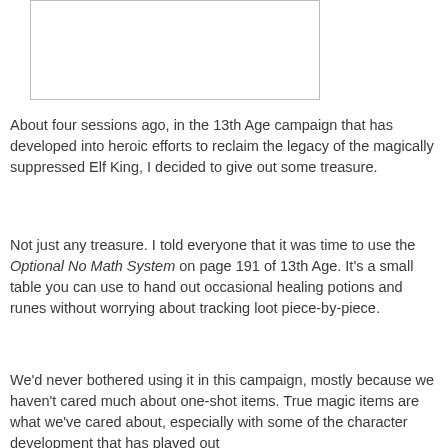[Figure (other): Empty white box with border, likely placeholder for an image]
About four sessions ago, in the 13th Age campaign that has developed into heroic efforts to reclaim the legacy of the magically suppressed Elf King, I decided to give out some treasure.
Not just any treasure. I told everyone that it was time to use the Optional No Math System on page 191 of 13th Age. It's a small table you can use to hand out occasional healing potions and runes without worrying about tracking loot piece-by-piece.
We'd never bothered using it in this campaign, mostly because we haven't cared much about one-shot items. True magic items are what we've cared about, especially with some of the character development that has played out